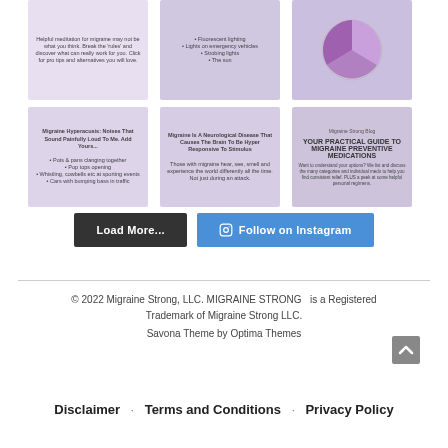[Figure (screenshot): Grid of 6 Instagram post thumbnails about migraine topics: meditation, light triggers, migraine triggers pie chart, hyperacusis, neurological disease, and preventive medications guide]
Load More...
Follow on Instagram
© 2022 Migraine Strong, LLC. MIGRAINE STRONG  is a Registered Trademark of Migraine Strong LLC.
Savona Theme by Optima Themes
Disclaimer · Terms and Conditions · Privacy Policy